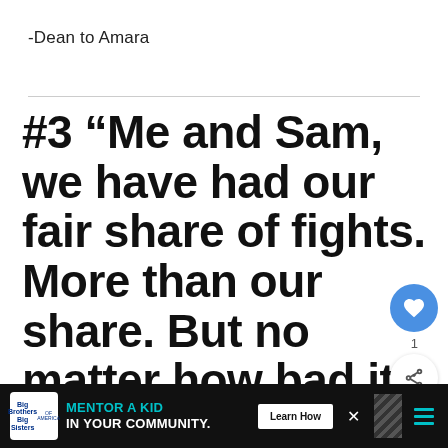-Dean to Amara
#3 “Me and Sam, we have had our fair share of fights. More than our share. But no matter how bad it got, we always made it right because we’re family. I need him, he needs me, and when everything goes
[Figure (screenshot): UI overlay elements: blue heart/like button with count of 1, share button, and a 'What's Next' video preview card showing 'All About The Latest Seas...' with a thumbnail image]
[Figure (infographic): Advertisement banner: Big Brothers Big Sisters logo, teal text 'MENTOR A KID IN YOUR COMMUNITY.' with a 'Learn How' button, close button, and striped pattern with menu icon]